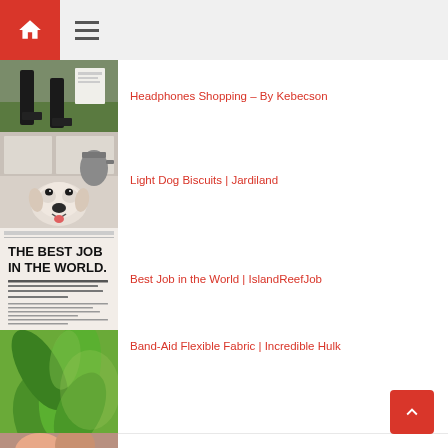Navigation bar with home and menu icons
Headphones Shopping – By Kebecson
Light Dog Biscuits | Jardiland
Best Job in the World | IslandReefJob
Band-Aid Flexible Fabric | Incredible Hulk